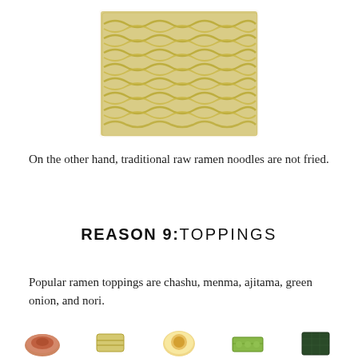[Figure (photo): A block of uncooked instant ramen noodles, square-shaped, light yellow/beige color with wavy noodle texture, photographed from above on a white background.]
On the other hand, traditional raw ramen noodles are not fried.
REASON 9: TOPPINGS
Popular ramen toppings are chashu, menma, ajitama, green onion, and nori.
[Figure (photo): Row of ramen toppings at bottom of page: partially visible food items including what appears to be chashu pork, menma bamboo shoots, ajitama soft-boiled egg, green onion, and nori seaweed.]